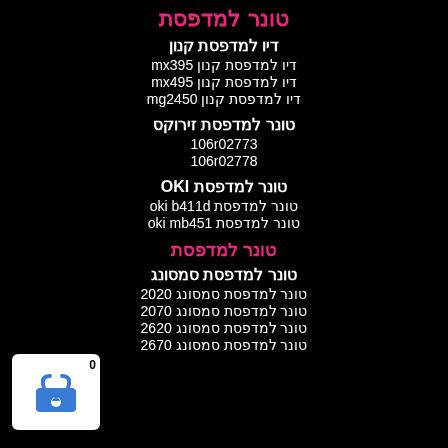טונר למדפסת
דיו למדפסת קנון
דיו למדפסת קנון mx395
דיו למדפסת קנון mx495
דיו למדפסת קנון mg2450
טונר למדפסת זירוקס
106r02773
106r02778
טונר למדפסת OKI
טונר למדפסת oki b411d
טונר למדפסת oki mb451
טונר למדפסת
טונר למדפסת סמסונג
טונר למדפסת סמסונג 2020
טונר למדפסת סמסונג 2070
טונר למדפסת סמסונג 2620
טונר למדפסת סמסונג 2670